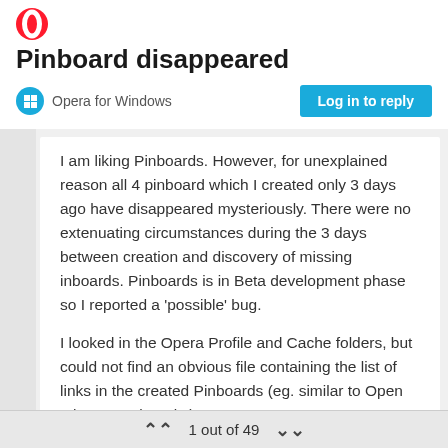[Figure (logo): Opera browser logo (red circle with white O shape)]
Pinboard disappeared
Opera for Windows
Log in to reply
I am liking Pinboards. However, for unexplained reason all 4 pinboard which I created only 3 days ago have disappeared mysteriously. There were no extenuating circumstances during the 3 days between creation and discovery of missing inboards. Pinboards is in Beta development phase so I reported a 'possible' bug.
I looked in the Opera Profile and Cache folders, but could not find an obvious file containing the list of links in the created Pinboards (eg. similar to Open tabs or Bookmarks).
Can someone who understands Opera better provide an insight please? Specifically,
1 out of 49